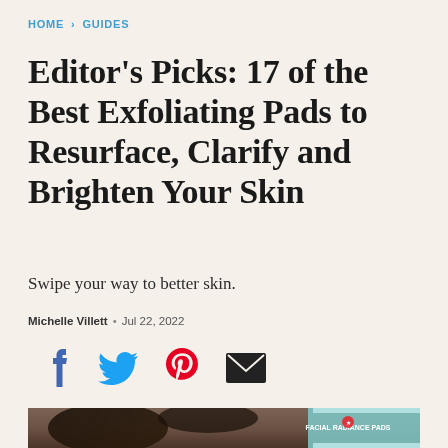HOME > GUIDES
Editor's Picks: 17 of the Best Exfoliating Pads to Resurface, Clarify and Brighten Your Skin
Swipe your way to better skin.
Michelle Villett · Jul 22, 2022
[Figure (infographic): Social media share icons: Facebook (blue), Twitter (blue), Pinterest (red), Email (black envelope)]
[Figure (photo): Close-up photo of a person with braided hair holding a teal container of First Aid Beauty Facial Radiance Pads]